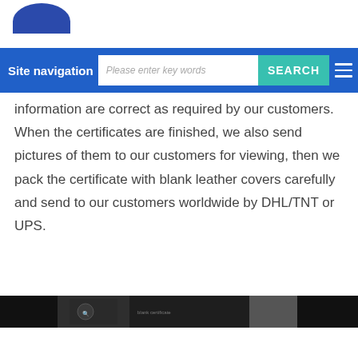[Logo]
Site navigation | Please enter key words | SEARCH
information are correct as required by our customers. When the certificates are finished, we also send pictures of them to our customers for viewing, then we pack the certificate with blank leather covers carefully and send to our customers worldwide by DHL/TNT or UPS.
[Figure (photo): Partial image strip showing document/certificate photographs in dark tones]